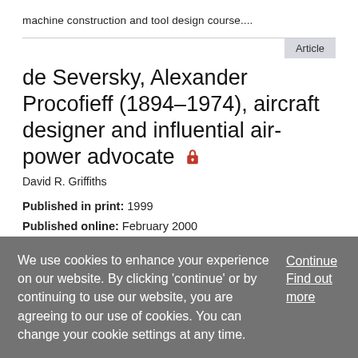machine construction and tool design course....
Article
de Seversky, Alexander Procofieff (1894–1974), aircraft designer and influential air-power advocate
David R. Griffiths
Published in print: 1999
Published online: February 2000
de Seversky, Alexander Procofieff (07 June 1894–24 August
We use cookies to enhance your experience on our website. By clicking 'continue' or by continuing to use our website, you are agreeing to our use of cookies. You can change your cookie settings at any time.
Continue
Find out more